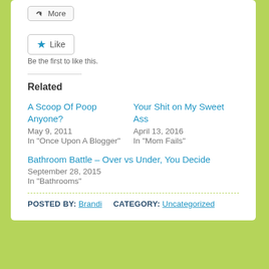[Figure (screenshot): More button widget at top of card]
[Figure (screenshot): Like button widget]
Be the first to like this.
Related
A Scoop Of Poop Anyone?
May 9, 2011
In "Once Upon A Blogger"
Your Shit on My Sweet Ass
April 13, 2016
In "Mom Fails"
Bathroom Battle – Over vs Under, You Decide
September 28, 2015
In "Bathrooms"
POSTED BY: Brandi   CATEGORY: Uncategorized